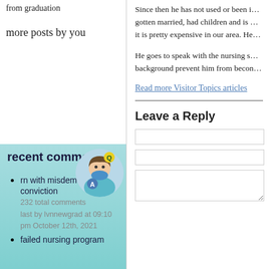from graduation
more posts by you
recent comments
rn with misdemeanor drug conviction
232 total comments
last by lvnnewgrad at 09:10 pm October 12th, 2021
failed nursing program
Since then he has not used or been i... gotten married, had children and is ... it is pretty expensive in our area. He...
He goes to speak with the nursing s... background prevent him from becon...
Read more Visitor Topics articles
Leave a Reply